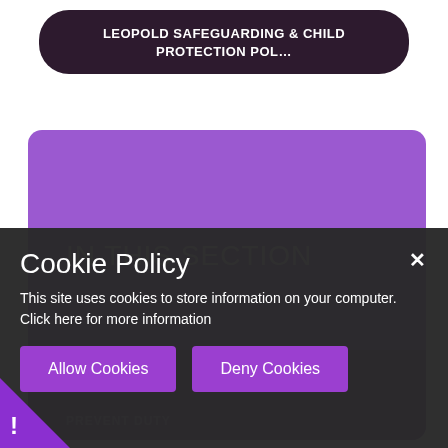LEOPOLD SAFEGUARDING & CHILD PROTECTION POL…
IN THIS SECTION
PREVENT DUTY
Cookie Policy
This site uses cookies to store information on your computer. Click here for more information
Allow Cookies   Deny Cookies